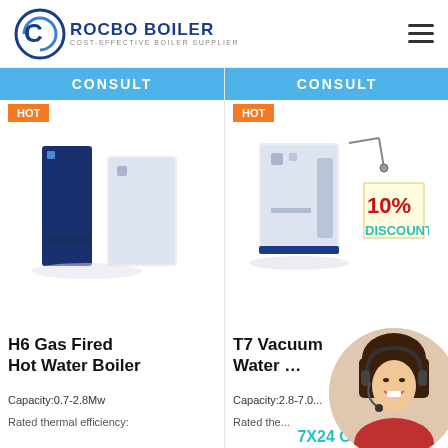[Figure (logo): Rocbo Boiler logo with circular C emblem and text ROCBO BOILER COST-EFFECTIVE BOILER SUPPLIER]
[Figure (screenshot): Two product cards: H6 Gas Fired Hot Water Boiler and T7 Vacuum Hot Water Boiler, each with CONSULT bar, HOT badge, product image, capacity and rated thermal efficiency specs. Right card has 10% DISCOUNT badge. Customer service agent circular photo and 7X24 Online text overlaid on right side.]
CONSULT
CONSULT
HOT
HOT
H6 Gas Fired Hot Water Boiler
T7 Vacuum Hot Water Boiler
Capacity:0.7-2.8Mw
Capacity:2.8-7.0...
Rated thermal efficiency:
Rated the...
10% DISCOUNT
7X24 Online